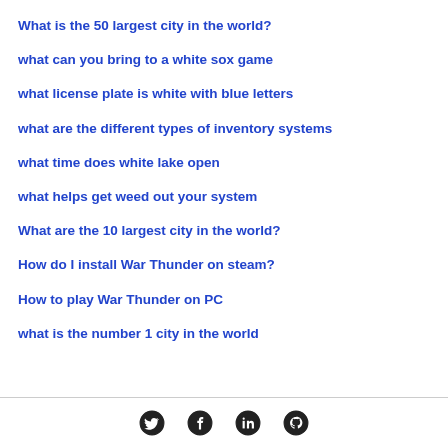What is the 50 largest city in the world?
what can you bring to a white sox game
what license plate is white with blue letters
what are the different types of inventory systems
what time does white lake open
what helps get weed out your system
What are the 10 largest city in the world?
How do I install War Thunder on steam?
How to play War Thunder on PC
what is the number 1 city in the world
Social media icons: Twitter, Facebook, LinkedIn, GitHub